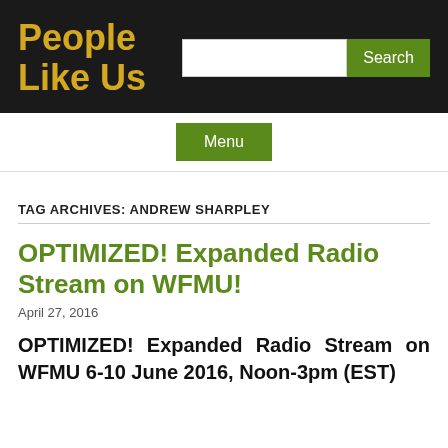People Like Us
[Figure (screenshot): Search input field and Search button in the header]
[Figure (screenshot): Menu navigation button]
TAG ARCHIVES: ANDREW SHARPLEY
OPTIMIZED! Expanded Radio Stream on WFMU!
April 27, 2016
OPTIMIZED! Expanded Radio Stream on WFMU 6-10 June 2016, Noon-3pm (EST)